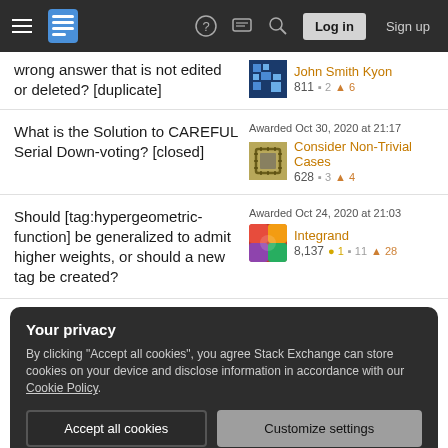Navigation bar with hamburger menu, Stack Exchange logo, question mark icon, chat icon, search icon, Log in button, Sign up link
wrong answer that is not edited or deleted? [duplicate] — John Smith Kyon 811 ▪2 ▲6
What is the Solution to CAREFUL Serial Down-voting? [closed] — Awarded Oct 30, 2020 at 21:17 — Consider Non-Trivial Cases 628 ▪3 ▲4
Should [tag:hypergeometric-function] be generalized to admit higher weights, or should a new tag be created? — Awarded Oct 24, 2020 at 21:03 — Integrand 8,137 ●1 ▪11 ▲28
Your privacy
By clicking "Accept all cookies", you agree Stack Exchange can store cookies on your device and disclose information in accordance with our Cookie Policy.
[Accept all cookies] [Customize settings]
Meta Mathematics Page has — 1